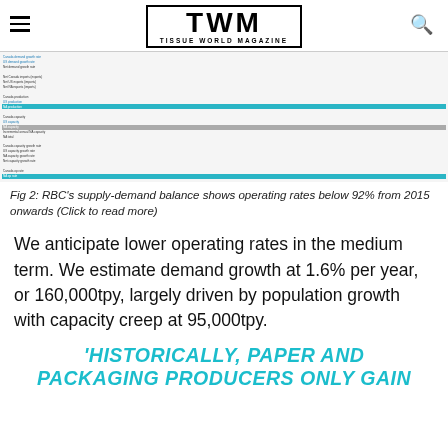TWM TISSUE WORLD MAGAZINE
[Figure (table-as-image): RBC supply-demand balance table showing operating rates, demand growth, production and capacity data across multiple years]
Fig 2: RBC's supply-demand balance shows operating rates below 92% from 2015 onwards (Click to read more)
We anticipate lower operating rates in the medium term. We estimate demand growth at 1.6% per year, or 160,000tpy, largely driven by population growth with capacity creep at 95,000tpy.
'HISTORICALLY, PAPER AND PACKAGING PRODUCERS ONLY GAIN